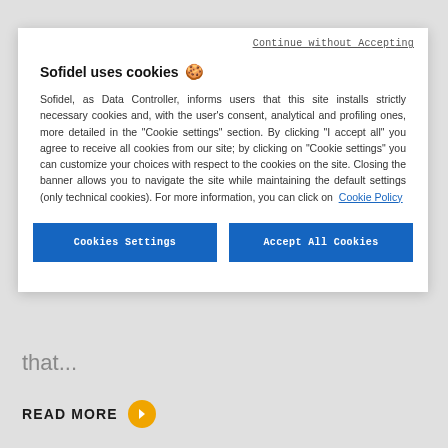Continue without Accepting
Sofidel uses cookies 🍪
Sofidel, as Data Controller, informs users that this site installs strictly necessary cookies and, with the user's consent, analytical and profiling ones, more detailed in the "Cookie settings" section. By clicking "I accept all" you agree to receive all cookies from our site; by clicking on "Cookie settings" you can customize your choices with respect to the cookies on the site. Closing the banner allows you to navigate the site while maintaining the default settings (only technical cookies). For more information, you can click on Cookie Policy
Cookies Settings
Accept All Cookies
that...
READ MORE